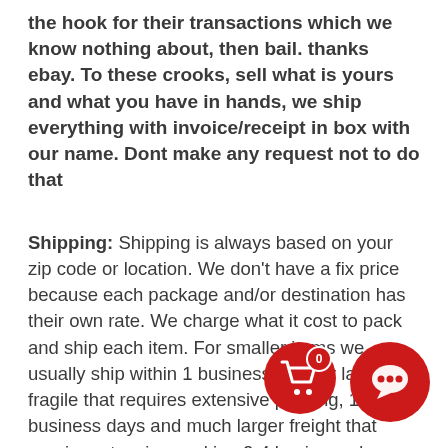the hook for their transactions which we know nothing about, then bail. thanks ebay. To these crooks, sell what is yours and what you have in hands, we ship everything with invoice/receipt in box with our name. Dont make any request not to do that
Shipping: Shipping is always based on your zip code or location. We don't have a fix price because each package and/or destination has their own rate. We charge what it cost to pack and ship each item. For smaller items we usually ship within 1 business day, for larger or fragile that requires extensive packing, 1-2 business days and much larger freight that require extensive packing 2-4 business days. We always provide tracking numbers. Once your item is delivered, you are required to check the content of the package immediately, please don't file